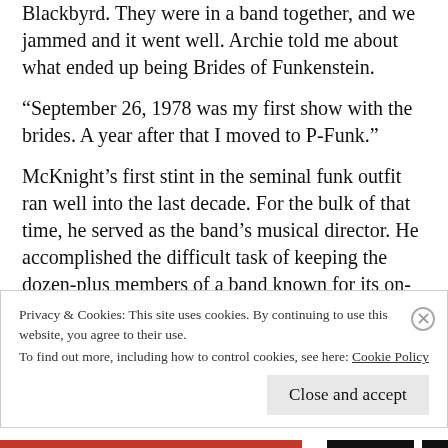Blackbyrd. They were in a band together, and we jammed and it went well. Archie told me about what ended up being Brides of Funkenstein.
“September 26, 1978 was my first show with the brides. A year after that I moved to P-Funk.”
McKnight’s first stint in the seminal funk outfit ran well into the last decade. For the bulk of that time, he served as the band’s musical director. He accomplished the difficult task of keeping the dozen-plus members of a band known for its on-stage mayhem in line and functioning by adhering to one simple, yet complicated concept: follow its eccentric
Privacy & Cookies: This site uses cookies. By continuing to use this website, you agree to their use.
To find out more, including how to control cookies, see here: Cookie Policy
Close and accept